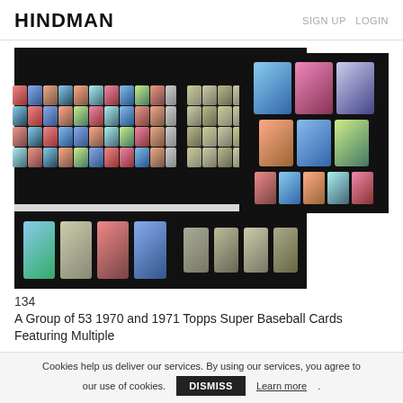HINDMAN   SIGN UP   LOGIN
[Figure (photo): Collection of 1970 and 1971 Topps Super Baseball Cards arranged on dark background, showing multiple rows of cards in two groups; plus a separate image showing larger individual cards]
134
A Group of 53 1970 and 1971 Topps Super Baseball Cards Featuring Multiple
Cookies help us deliver our services. By using our services, you agree to our use of cookies.   DISMISS   Learn more.